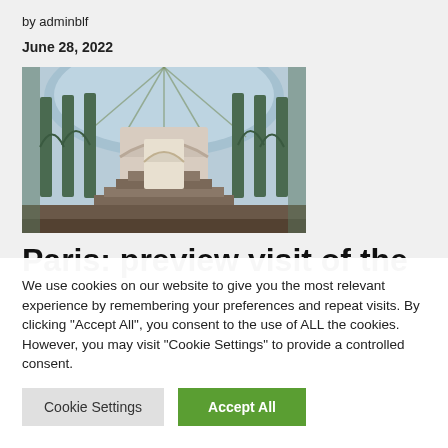by adminblf
June 28, 2022
[Figure (photo): Interior of the Grand Palais in Paris, showing the ornate glass dome, grand staircase, and green metalwork columns]
Paris: preview visit of the
We use cookies on our website to give you the most relevant experience by remembering your preferences and repeat visits. By clicking "Accept All", you consent to the use of ALL the cookies. However, you may visit "Cookie Settings" to provide a controlled consent.
Cookie Settings   Accept All